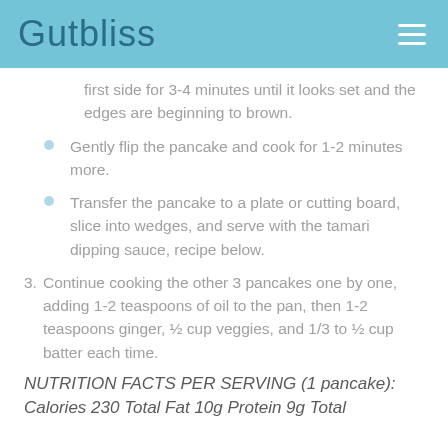Gutbliss
first side for 3-4 minutes until it looks set and the edges are beginning to brown.
Gently flip the pancake and cook for 1-2 minutes more.
Transfer the pancake to a plate or cutting board, slice into wedges, and serve with the tamari dipping sauce, recipe below.
3. Continue cooking the other 3 pancakes one by one, adding 1-2 teaspoons of oil to the pan, then 1-2 teaspoons ginger, ½ cup veggies, and 1/3 to ½ cup batter each time.
NUTRITION FACTS PER SERVING (1 pancake):
Calories 230 Total Fat 10g Protein 9g Total